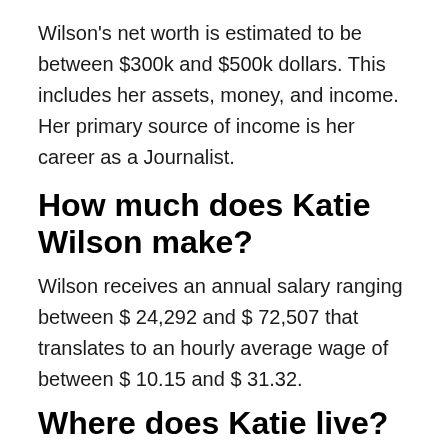Wilson's net worth is estimated to be between $300k and $500k dollars. This includes her assets, money, and income. Her primary source of income is her career as a Journalist.
How much does Katie Wilson make?
Wilson receives an annual salary ranging between $ 24,292 and $ 72,507 that translates to an hourly average wage of between $ 10.15 and $ 31.32.
Where does Katie live?